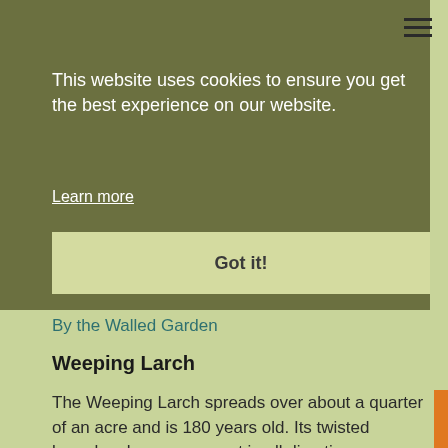This website uses cookies to ensure you get the best experience on our website.
Learn more
Got it!
By the Walled Garden
Weeping Larch
The Weeping Larch spreads over about a quarter of an acre and is 180 years old. Its twisted branches have grown out in all directions, sometimes travelling along the ground liked a snake. This Weeping Larch has been recognised as one of the 100